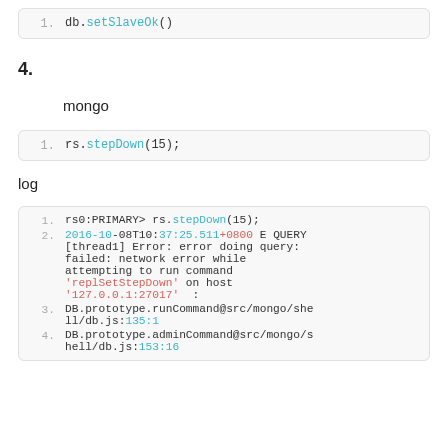[Figure (screenshot): Code block showing: 1. db.setSlaveOk()]
4.〇〇〇〇
〇〇〇mongo 〇〇〇
[Figure (screenshot): Code block showing: 1. rs.stepDown(15);]
log〇〇〇
[Figure (screenshot): Code block showing log output with rs0:PRIMARY> rs.stepDown(15); error messages and DB.prototype calls]